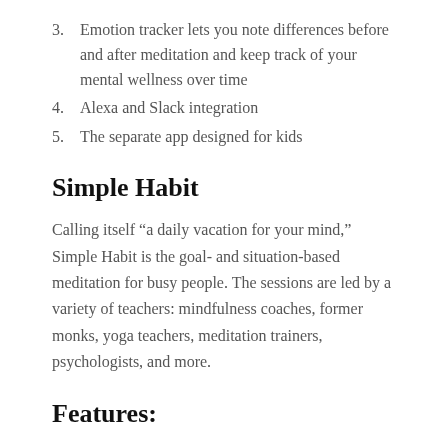3. Emotion tracker lets you note differences before and after meditation and keep track of your mental wellness over time
4. Alexa and Slack integration
5. The separate app designed for kids
Simple Habit
Calling itself “a daily vacation for your mind,” Simple Habit is the goal- and situation-based meditation for busy people. The sessions are led by a variety of teachers: mindfulness coaches, former monks, yoga teachers, meditation trainers, psychologists, and more.
Features: